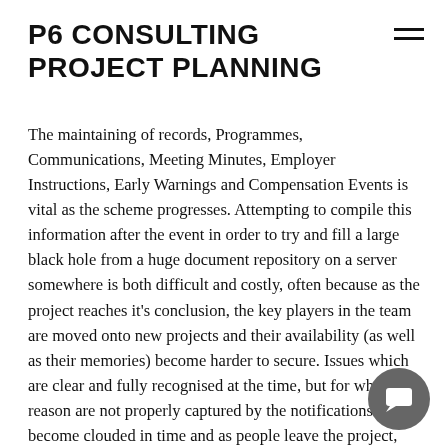P6 CONSULTING PROJECT PLANNING
The maintaining of records, Programmes, Communications, Meeting Minutes, Employer Instructions, Early Warnings and Compensation Events is vital as the scheme progresses. Attempting to compile this information after the event in order to try and fill a large black hole from a huge document repository on a server somewhere is both difficult and costly, often because as the project reaches it's conclusion, the key players in the team are moved onto new projects and their availability (as well as their memories) become harder to secure. Issues which are clear and fully recognised at the time, but for whatever reason are not properly captured by the notifications become clouded in time and as people leave the project, the knowledge departs with them.
[Figure (other): Hamburger menu icon (two horizontal lines) in top right corner]
[Figure (other): Chat bubble / support button icon in bottom right corner]